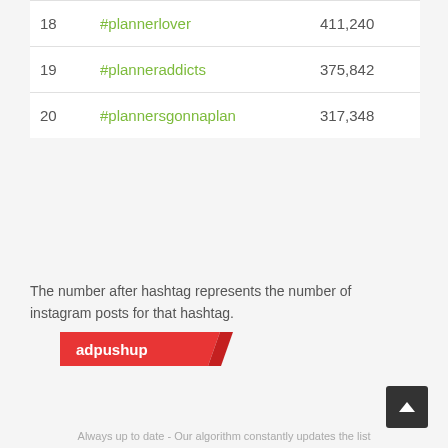| # | Hashtag | Posts |
| --- | --- | --- |
| 18 | #plannerlover | 411,240 |
| 19 | #planneraddicts | 375,842 |
| 20 | #plannersgonnaplan | 317,348 |
The number after hashtag represents the number of instagram posts for that hashtag.
[Figure (logo): adpushup logo — white text on red background with diagonal cut]
Always up to date - Our algorithm constantly updates the list